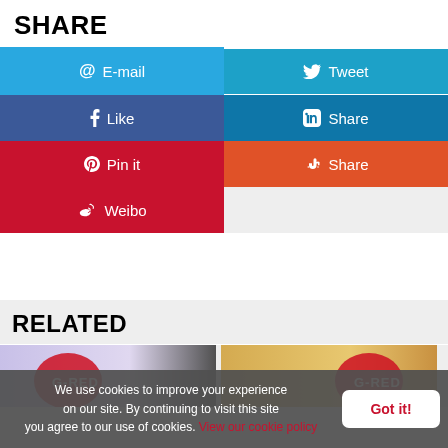SHARE
[Figure (infographic): Social sharing buttons grid: E-mail (blue), Tweet (light blue), Like/Facebook (dark blue), LinkedIn Share (teal blue), Pinterest Pin it (red), StumbleUpon Share (orange-red), Weibo (red)]
RELATED
[Figure (photo): Two related article thumbnail images side by side showing G-RED branded content]
We use cookies to improve your experience on our site. By continuing to visit this site you agree to our use of cookies. View our cookie policy